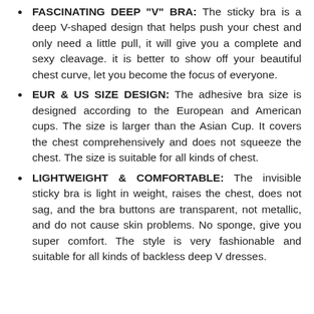FASCINATING DEEP "V" BRA: The sticky bra is a deep V-shaped design that helps push your chest and only need a little pull, it will give you a complete and sexy cleavage. it is better to show off your beautiful chest curve, let you become the focus of everyone.
EUR & US SIZE DESIGN: The adhesive bra size is designed according to the European and American cups. The size is larger than the Asian Cup. It covers the chest comprehensively and does not squeeze the chest. The size is suitable for all kinds of chest.
LIGHTWEIGHT & COMFORTABLE: The invisible sticky bra is light in weight, raises the chest, does not sag, and the bra buttons are transparent, not metallic, and do not cause skin problems. No sponge, give you super comfort. The style is very fashionable and suitable for all kinds of backless deep V dresses.